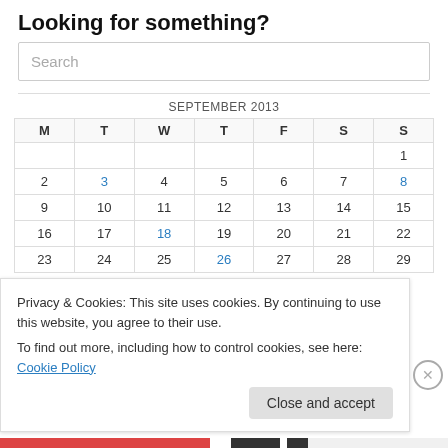Looking for something?
Search
| M | T | W | T | F | S | S |
| --- | --- | --- | --- | --- | --- | --- |
|  |  |  |  |  |  | 1 |
| 2 | 3 | 4 | 5 | 6 | 7 | 8 |
| 9 | 10 | 11 | 12 | 13 | 14 | 15 |
| 16 | 17 | 18 | 19 | 20 | 21 | 22 |
| 23 | 24 | 25 | 26 | 27 | 28 | 29 |
Privacy & Cookies: This site uses cookies. By continuing to use this website, you agree to their use.
To find out more, including how to control cookies, see here: Cookie Policy